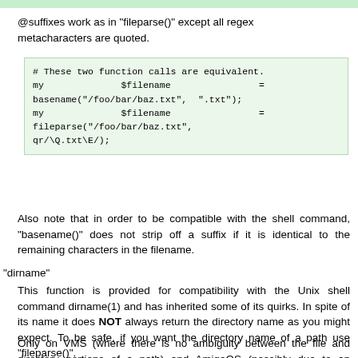@suffixes work as in "fileparse()" except all regex metacharacters are quoted.
[Figure (screenshot): Code block with light green background showing two equivalent Perl function calls: basename and fileparse on /foo/bar/baz.txt]
Also note that in order to be compatible with the shell command, "basename()" does not strip off a suffix if it is identical to the remaining characters in the filename.
"dirname"
This function is provided for compatibility with the Unix shell command dirname(1) and has inherited some of its quirks. In spite of its name it does NOT always return the directory name as you might expect. To be safe, if you want the directory name of a path use "fileparse()".
Only on VMS (where there is no ambiguity between the file and directory portions of a path) and AmigaOS (possibly due to an implementation quirk in this module) does "dirname()" work like